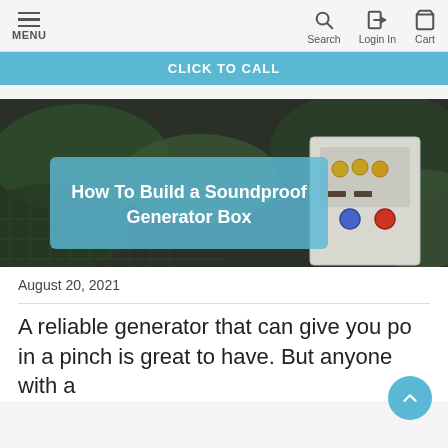MENU | Search | Login In | Cart
CLICK TO CALL
[Figure (photo): Hero image of an outdoor electrical/generator box surrounded by foliage with text overlay 'How To Build a Soundproof Generator Box' on a semi-transparent blue background]
August 20, 2021
A reliable generator that can give you po... in a pinch is great to have. But anyone with a